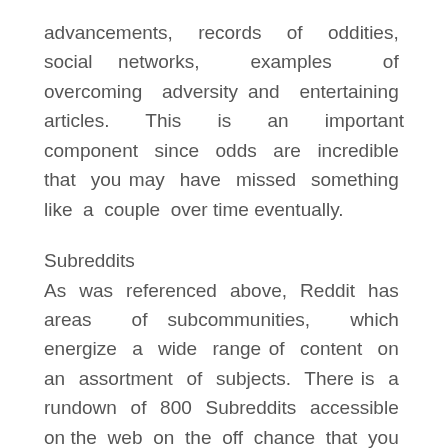advancements, records of oddities, social networks, examples of overcoming adversity and entertaining articles. This is an important component since odds are incredible that you may have missed something like a couple over time eventually.
Subreddits
As was referenced above, Reddit has areas of subcommunities, which energize a wide range of content on an assortment of subjects. There is a rundown of 800 Subreddits accessible on the web on the off chance that you would prefer not to burn through a lot of time boring down